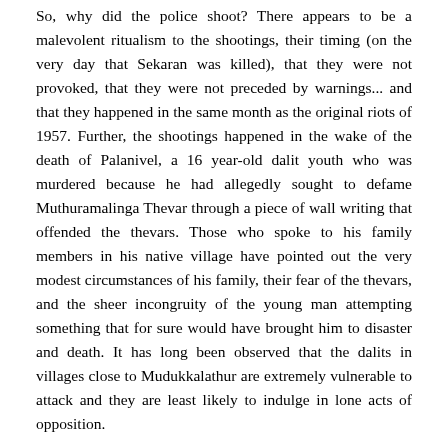So, why did the police shoot? There appears to be a malevolent ritualism to the shootings, their timing (on the very day that Sekaran was killed), that they were not provoked, that they were not preceded by warnings... and that they happened in the same month as the original riots of 1957. Further, the shootings happened in the wake of the death of Palanivel, a 16 year-old dalit youth who was murdered because he had allegedly sought to defame Muthuramalinga Thevar through a piece of wall writing that offended the thevars. Those who spoke to his family members in his native village have pointed out the very modest circumstances of his family, their fear of the thevars, and the sheer incongruity of the young man attempting something that for sure would have brought him to disaster and death. It has long been observed that the dalits in villages close to Mudukkalathur are extremely vulnerable to attack and they are least likely to indulge in lone acts of opposition.
To return to the question of the shootings: why did the police